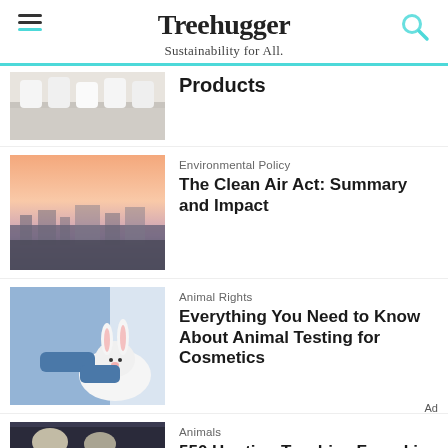Treehugger — Sustainability for All.
Products
Environmental Policy
The Clean Air Act: Summary and Impact
Animal Rights
Everything You Need to Know About Animal Testing for Cosmetics
Animals
550 Hunting Trophies Found in
We help people find answers, solve problems and get inspired.
Dotdash meredith